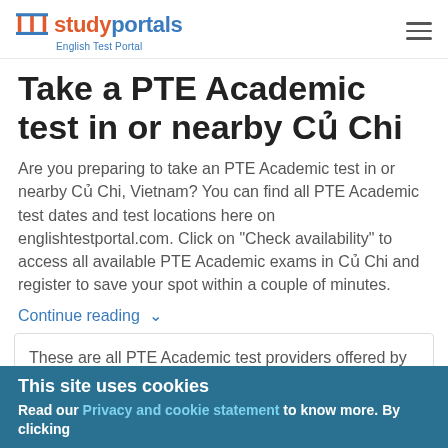studyportals — English Test Portal
Take a PTE Academic test in or nearby Củ Chi
Are you preparing to take an PTE Academic test in or nearby Củ Chi, Vietnam? You can find all PTE Academic test dates and test locations here on englishtestportal.com. Click on "Check availability" to access all available PTE Academic exams in Củ Chi and register to save your spot within a couple of minutes.
Continue reading ∨
These are all PTE Academic test providers offered by
This site uses cookies
Read our Privacy and cookie statement to know more. By clicking